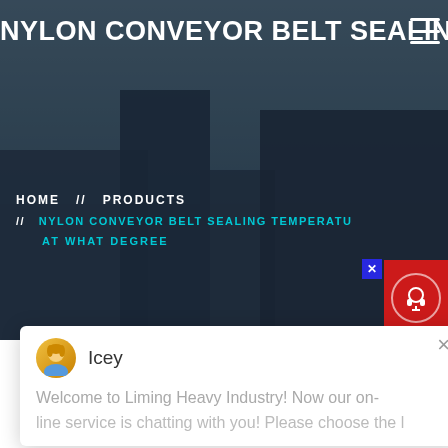NYLON CONVEYOR BELT SEALING TEMPERATURE AT WHAT DEGREE
HOME // PRODUCTS // NYLON CONVEYOR BELT SEALING TEMPERATURE AT WHAT DEGREE
[Figure (screenshot): Chat popup from Liming Heavy Industry website with avatar named Icey, showing: 'Welcome to Liming Heavy Industry! Now our on-line service is chatting with you! Please choose the l...']
[Figure (photo): Industrial heavy machinery (conveyor/crusher equipment) in a factory or mining setting, partially visible at the bottom of the page]